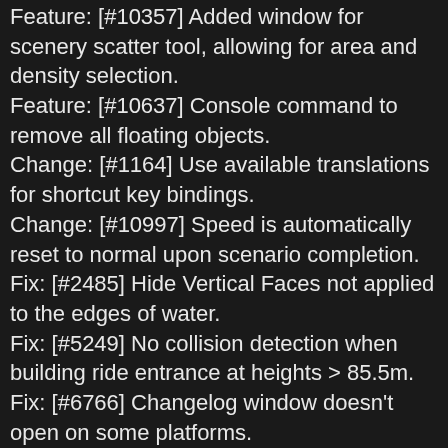Feature: [#10357] Added window for scenery scatter tool, allowing for area and density selection.
Feature: [#10637] Console command to remove all floating objects.
Change: [#1164] Use available translations for shortcut key bindings.
Change: [#10997] Speed is automatically reset to normal upon scenario completion.
Fix: [#2485] Hide Vertical Faces not applied to the edges of water.
Fix: [#5249] No collision detection when building ride entrance at heights > 85.5m.
Fix: [#6766] Changelog window doesn't open on some platforms.
Fix: [#7784] Vehicle tab takes 1st car colour instead of tab_vehicle's colour.
Fix: [#7854] Cannot build a custom spiral roller coaster design.
Fix: [#7854] Empty entries in spiral roller coaster designs list.
Fix: [#8151] Game freezes upon demolishing mazes at odd heights.
Fix: [#8875] RCT1 competition scenarios are classified